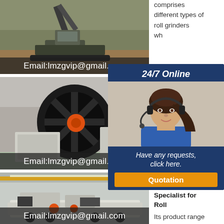[Figure (photo): Industrial construction site with excavator machinery, overlay text Email:lmzgvip@gmail.com]
[Figure (photo): Industrial manufacturing machine with large black flywheel and orange center in factory, overlay text Email:lmzgvip@gmail.com]
[Figure (photo): Large mobile industrial equipment on flatbed in factory setting, overlay text Email:lmzgvip@gmail.com]
comprises different types of roll grinders wh
[Figure (infographic): 24/7 Online popup with woman wearing headset, Have any requests, click here. Quotation button]
Herkules Specialist for Roll
Its product range comprises different types of roll grinders